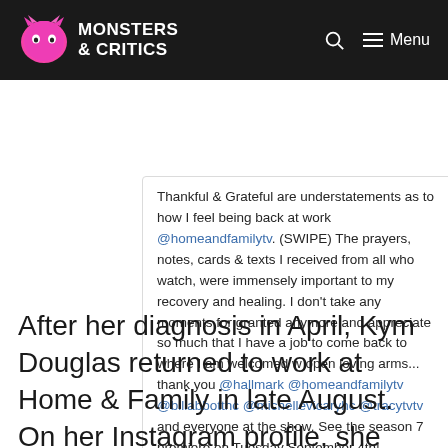MONSTERS & CRITICS
[Figure (screenshot): Instagram post embed showing a comment about returning to Home and Family show, with @mentions in blue, view all 187 comments link, and Add a comment footer with Instagram icon]
After her diagnosis in April, Kym Douglas returned to work at Home & Family in late August. On her Instagram profile, she posted photos of herself with the crew, revealing that